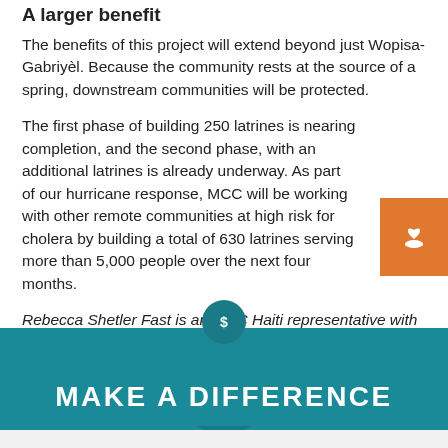A larger benefit
The benefits of this project will extend beyond just Wopisa-Gabriyèl. Because the community rests at the source of a spring, downstream communities will be protected.
The first phase of building 250 latrines is nearing completion, and the second phase, with an additional latrines is already underway. As part of our hurricane response, MCC will be working with other remote communities at high risk for cholera by building a total of 630 latrines serving more than 5,000 people over the next four months.
Rebecca Shetler Fast is an MCC Haiti representative with her husband Paul Shetler Fast. Ted Oswald is a former policy analyst for MCC Haiti.
[Figure (other): Orange tab with heart/hand charity icon on right side]
MAKE A DIFFERENCE
[Figure (other): Teal circle with dollar sign icon above teal banner]